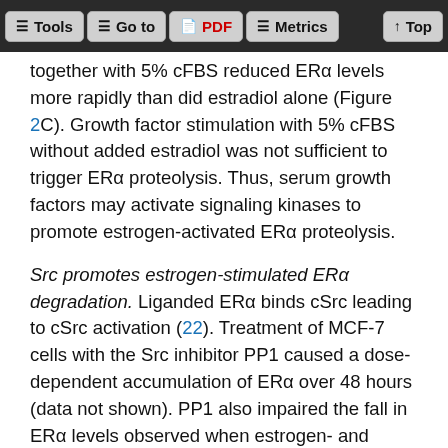Tools | Go to | PDF | Metrics | Top
together with 5% cFBS reduced ERα levels more rapidly than did estradiol alone (Figure 2C). Growth factor stimulation with 5% cFBS without added estradiol was not sufficient to trigger ERα proteolysis. Thus, serum growth factors may activate signaling kinases to promote estrogen-activated ERα proteolysis.
Src promotes estrogen-stimulated ERα degradation. Liganded ERα binds cSrc leading to cSrc activation (22). Treatment of MCF-7 cells with the Src inhibitor PP1 caused a dose-dependent accumulation of ERα over 48 hours (data not shown). PP1 also impaired the fall in ERα levels observed when estrogen- and growth factor–starved cells were transferred to serum together with estradiol (Figure 2D). Thus, cSrc may promote ligand-activated ERα proteolysis.